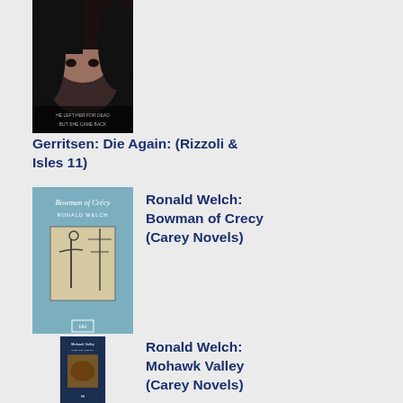[Figure (photo): Book cover for Die Again by Tess Gerritsen - dark image of woman's face]
Gerritsen: Die Again: (Rizzoli & Isles 11)
[Figure (photo): Book cover for Bowman of Crecy by Ronald Welch - blue cover with archer illustration]
Ronald Welch: Bowman of Crecy (Carey Novels)
[Figure (photo): Book cover for Mohawk Valley by Ronald Welch - dark blue cover]
Ronald Welch: Mohawk Valley (Carey Novels)
[Figure (photo): Book cover for Knight Crusader by Ronald Welch - red cover]
Ronald Welch :